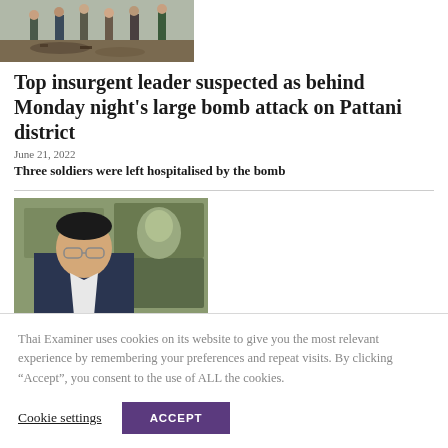[Figure (photo): People examining debris or rubble on the ground, partial view of multiple individuals standing outdoors]
Top insurgent leader suspected as behind Monday night’s large bomb attack on Pattani district
June 21, 2022
Three soldiers were left hospitalised by the bomb
[Figure (photo): Man in suit with glasses in foreground, background shows US dollar bills/currency]
Thai Examiner uses cookies on its website to give you the most relevant experience by remembering your preferences and repeat visits. By clicking “Accept”, you consent to the use of ALL the cookies.
Cookie settings
ACCEPT